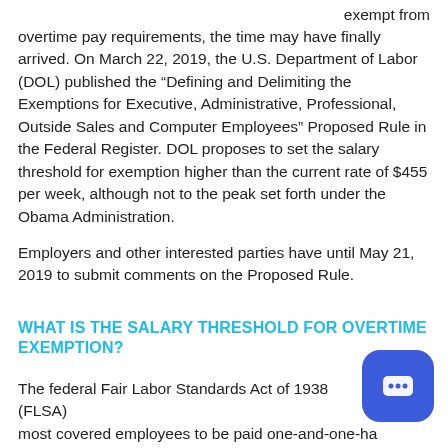exempt from overtime pay requirements, the time may have finally arrived. On March 22, 2019, the U.S. Department of Labor (DOL) published the “Defining and Delimiting the Exemptions for Executive, Administrative, Professional, Outside Sales and Computer Employees” Proposed Rule in the Federal Register. DOL proposes to set the salary threshold for exemption higher than the current rate of $455 per week, although not to the peak set forth under the Obama Administration.
Employers and other interested parties have until May 21, 2019 to submit comments on the Proposed Rule.
WHAT IS THE SALARY THRESHOLD FOR OVERTIME EXEMPTION?
The federal Fair Labor Standards Act of 1938 (FLSA) most covered employees to be paid one-and-one-ha the employee’s regular rate for hours worked over 40 in a